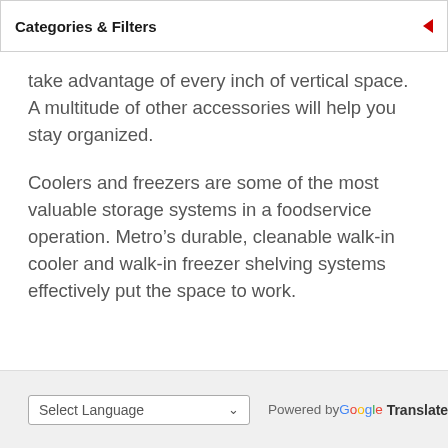Categories & Filters
take advantage of every inch of vertical space. A multitude of other accessories will help you stay organized.
Coolers and freezers are some of the most valuable storage systems in a foodservice operation. Metro’s durable, cleanable walk-in cooler and walk-in freezer shelving systems effectively put the space to work.
Select Language  Powered by Google Translate